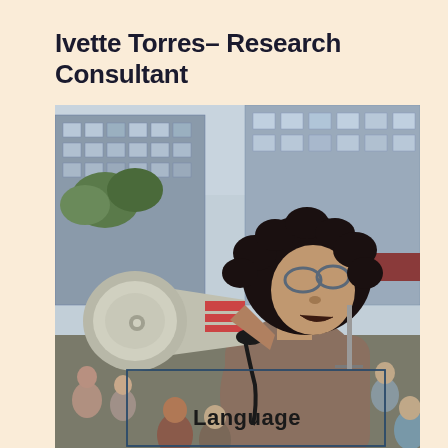Ivette Torres– Research Consultant
[Figure (photo): A woman with curly dark hair and glasses speaking into a red and silver megaphone/bullhorn at what appears to be an outdoor rally or protest. She is wearing a brown long-sleeve top and a black bracelet. Behind her is a multi-story building and trees. Other people are visible in the background. An annotation rectangle is overlaid near the bottom of the image with the label 'Language'.]